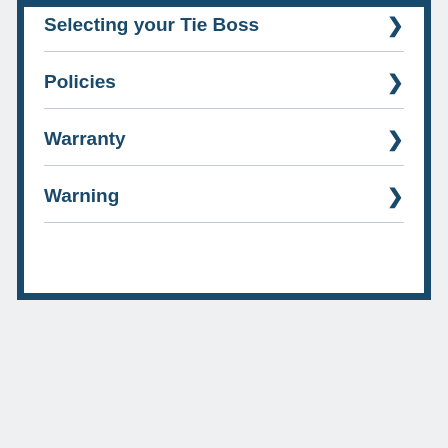Selecting your Tie Boss
Policies
Warranty
Warning